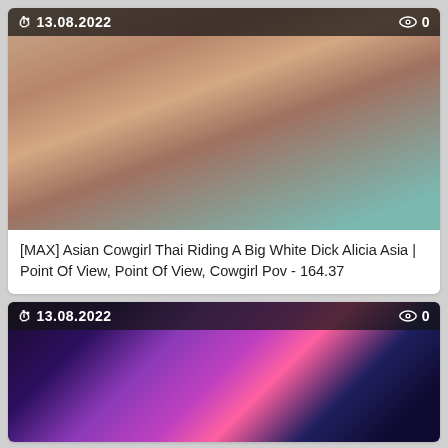[Figure (photo): Thumbnail image of adult video content with overlay showing date 13.08.2022 and view count 0]
[MAX] Asian Cowgirl Thai Riding A Big White Dick Alicia Asia | Point Of View, Point Of View, Cowgirl Pov - 164.37
[Figure (photo): Thumbnail image of adult video content showing purple and pink lighting inside what appears to be a tanning bed, with overlay showing date 13.08.2022 and view count 0]